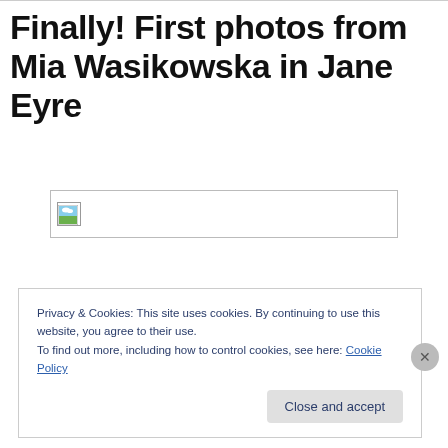Finally! First photos from Mia Wasikowska in Jane Eyre
[Figure (photo): Broken/unloaded image placeholder showing a small landscape icon in the top-left corner of an empty image box]
Privacy & Cookies: This site uses cookies. By continuing to use this website, you agree to their use.
To find out more, including how to control cookies, see here: Cookie Policy
Close and accept